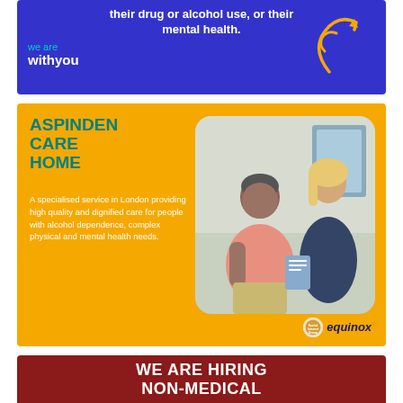[Figure (infographic): Blue banner with 'we are withyou' branding, centered text about drug/alcohol/mental health, orange arrow logo]
[Figure (infographic): Yellow Aspinden Care Home advertisement with teal title, white descriptive text, photo of elderly man with carer, Social Interest Group and Equinox logos]
[Figure (infographic): Dark red banner at bottom with white bold text 'WE ARE HIRING NON-MEDICAL']